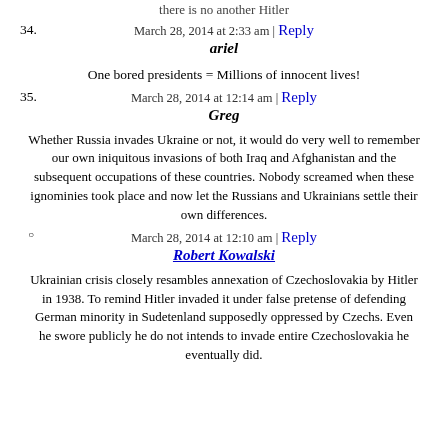there is no another Hitler
March 28, 2014 at 2:33 am | Reply
34. ariel
One bored presidents = Millions of innocent lives!
March 28, 2014 at 12:14 am | Reply
35. Greg
Whether Russia invades Ukraine or not, it would do very well to remember our own iniquitous invasions of both Iraq and Afghanistan and the subsequent occupations of these countries. Nobody screamed when these ignominies took place and now let the Russians and Ukrainians settle their own differences.
March 28, 2014 at 12:10 am | Reply
Robert Kowalski
Ukrainian crisis closely resambles annexation of Czechoslovakia by Hitler in 1938. To remind Hitler invaded it under false pretense of defending German minority in Sudetenland supposedly oppressed by Czechs. Even he swore publicly he do not intends to invade entire Czechoslovakia he eventually did.